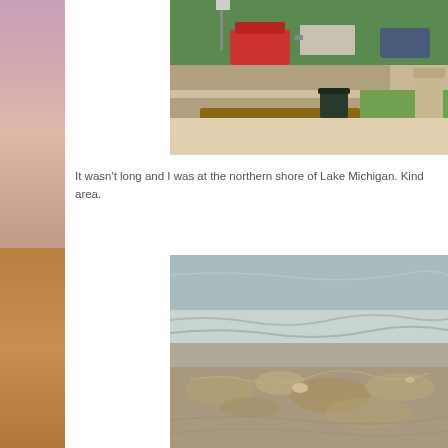[Figure (photo): Outdoor parking area photo showing a wooden bench, a trash can, parked cars including a red minivan and trailer, green grass, trees in background]
It wasn't long and I was at the northern shore of Lake Michigan.  Kind area.
[Figure (photo): Close-up photo of Lake Michigan shoreline showing sandy beach with textured wet sand formations and gentle waves lapping the shore]